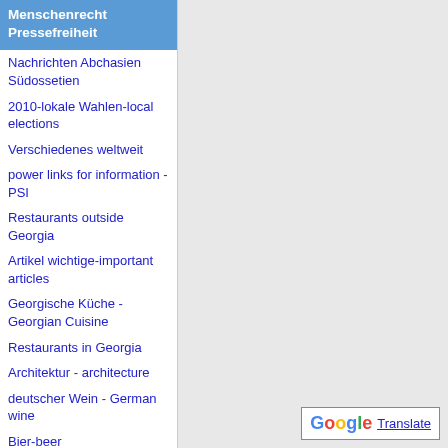Menschenrecht Pressefreiheit
Nachrichten Abchasien Südossetien
2010-lokale Wahlen-local elections
Verschiedenes weltweit
power links for information - PSI
Restaurants outside Georgia
Artikel wichtige-important articles
Georgische Küche - Georgian Cuisine
Restaurants in Georgia
Architektur - architecture
deutscher Wein - German wine
Bier-beer
Spirituosen-spirits
Dt. int. Küche-int. cuisine
Integration
[Figure (logo): Google Translate button widget with G logo and 'Translate' text underlined]